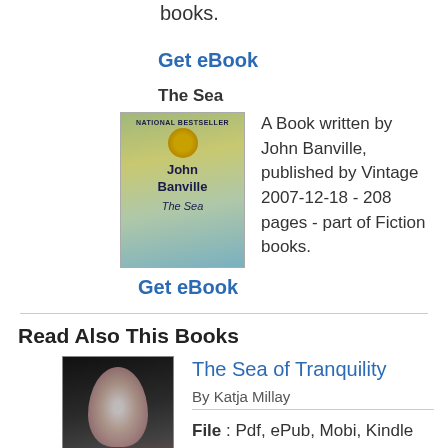books.
Get eBook
The Sea
A Book written by John Banville, published by Vintage 2007-12-18 - 208 pages - part of Fiction books.
Get eBook
Read Also This Books
[Figure (illustration): Book cover of 'The Sea of Tranquility' by Katja Millay, dark cover with silhouettes]
The Sea of Tranquility
By Katja Millay
File : Pdf, ePub, Mobi, Kindle
[Figure (illustration): Green READ button]